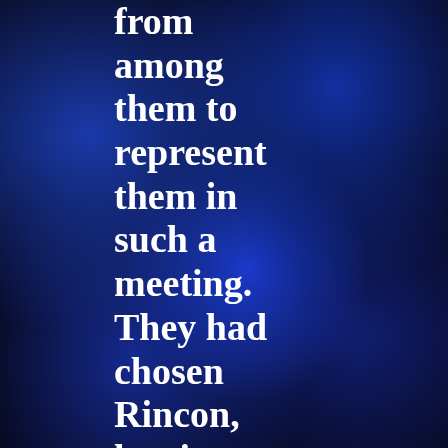from among them to represent them in such a meeting. They had chosen Rincon, leaving their "channel" with the group in meditation in Puerto